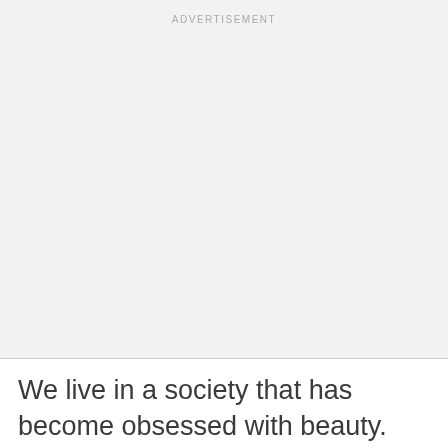ADVERTISEMENT
We live in a society that has become obsessed with beauty. Almost everyone is willing to